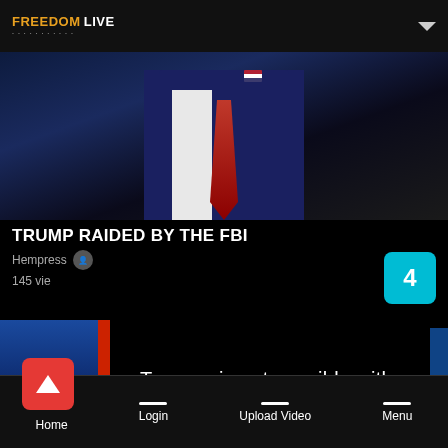Freedom Live
[Figure (screenshot): Video thumbnail showing a man in a dark navy suit with red tie and American flag pin on chest, against a dark blue background]
TRUMP RAIDED BY THE FBI
Hempress
145 vie
[Figure (screenshot): Second video thumbnail showing blue and red gradient background with text overlay: Tyranny is not possible with]
Tyranny is not possible with
Home  Login  Upload Video  Menu